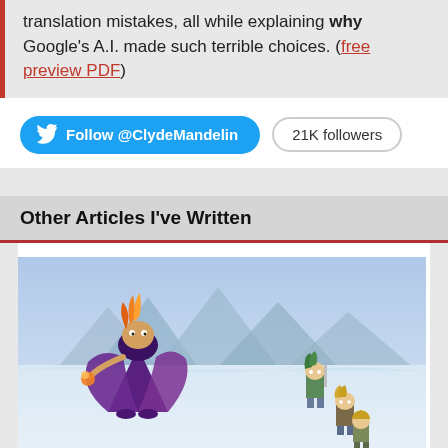translation mistakes, all while explaining why Google's A.I. made such terrible choices. ( free preview PDF )
Follow @ClydeMandelin   21K followers
Other Articles I've Written
[Figure (illustration): Pixel art RPG battle scene showing a large villain character with purple cape and flame hair on the left, and two smaller hero characters on the right, set against a snowy mountain background.]